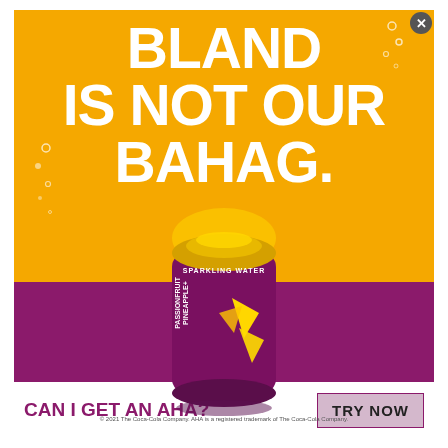[Figure (illustration): AHA Sparkling Water advertisement. Yellow/gold top section with large white bold text 'BLAND IS NOT OUR BAHAG.' A can of AHA Pineapple + Passionfruit sparkling water is centered, overlapping the yellow and purple sections. The bottom section is deep purple/magenta. Footer is white with purple CTA text 'CAN I GET AN AHA?' and a 'TRY NOW' button.]
BLAND IS NOT OUR BAHAG.
SPARKLING WATER
PINEAPPLE+ PASSIONFRUIT NATURALLY FLAVORED + OTHER NATURAL FLAVORS
CAN I GET AN AHA?
TRY NOW
© 2021 The Coca-Cola Company. AHA is a registered trademark of The Coca-Cola Company.